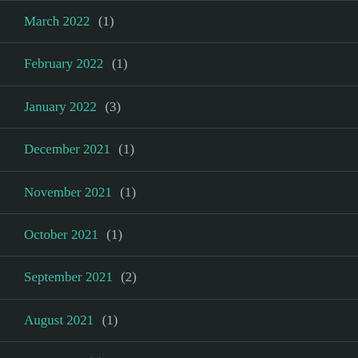March 2022 (1)
February 2022 (1)
January 2022 (3)
December 2021 (1)
November 2021 (1)
October 2021 (1)
September 2021 (2)
August 2021 (1)
June 2021 (2)